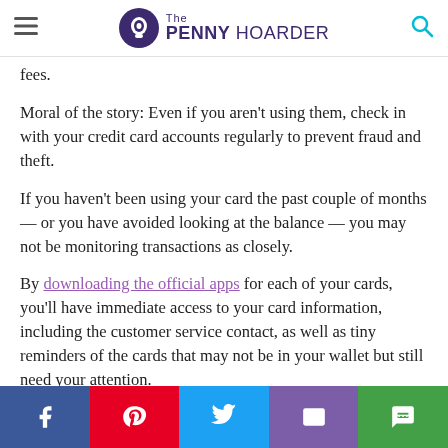The PENNY HOARDER
fees.
Moral of the story: Even if you aren't using them, check in with your credit card accounts regularly to prevent fraud and theft.
If you haven't been using your card the past couple of months — or you have avoided looking at the balance — you may not be monitoring transactions as closely.
By downloading the official apps for each of your cards, you'll have immediate access to your card information, including the customer service contact, as well as tiny reminders of the cards that may not be in your wallet but still need your attention.
Tiffany Wendeln Connors is a staff writer/editor at The
[Figure (infographic): Social media share bar with Facebook, Pinterest, Twitter, email, and chat buttons]